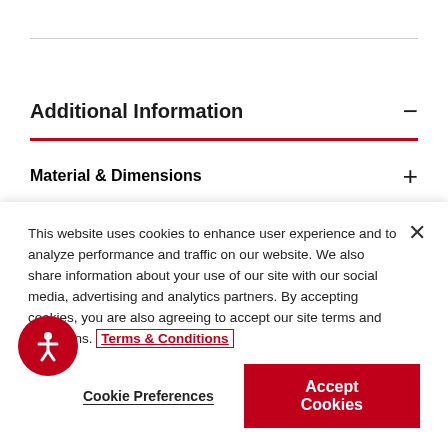Additional Information
Material & Dimensions
Directions For Use
This website uses cookies to enhance user experience and to analyze performance and traffic on our website. We also share information about your use of our site with our social media, advertising and analytics partners. By accepting cookies, you are also agreeing to accept our site terms and conditions. Terms & Conditions
Cookie Preferences
Accept Cookies